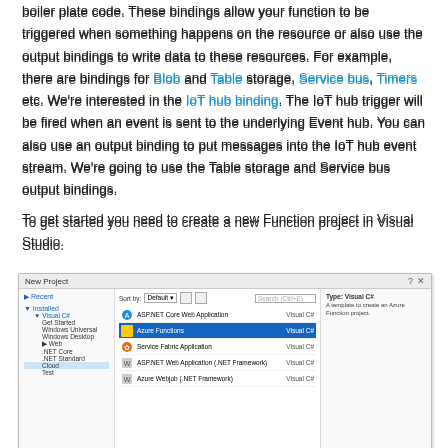boiler plate code. These bindings allow your function to be triggered when something happens on the resource or also use the output bindings to write data to these resources. For example, there are bindings for Blob and Table storage, Service bus, Timers etc. We're interested in the IoT hub binding. The IoT hub trigger will be fired when an event is sent to the underlying Event hub. You can also use an output binding to put messages into the IoT hub event stream. We're going to use the Table storage and Service bus output bindings.
To get started you need to create a new Function project in Visual Studio.
[Figure (screenshot): Visual Studio New Project dialog with Azure Functions template selected (highlighted in blue). Left panel shows project types including Visual C# with Get Started, Windows Universal, Windows Desktop, Web, .NET Core, .NET Standard, Cloud, Test. Main panel shows Sort by: Default with items: ASP.NET Core Web Application (Visual C#), Azure Functions (Visual C#, selected), Service Fabric Application (Visual C#), ASP.NET Web Application (.NET Framework) (Visual C#), Azure Webjob (.NET Framework) (Visual C#). Right panel shows Type: Visual C# - A template to create an Azure Function project.]